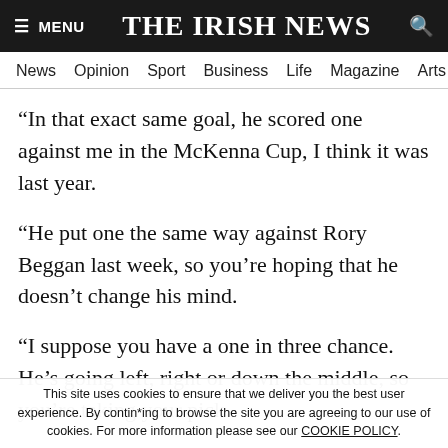THE IRISH NEWS
News   Opinion   Sport   Business   Life   Magazine   Arts
“In that exact same goal, he scored one against me in the McKenna Cup, I think it was last year.
“He put one the same way against Rory Beggan last week, so you’re hoping that he doesn’t change his mind.
“I suppose you have a one in three chance. He’s going left, right or down the middle, so you’re taking your pick.
“Thankfully for me it paid off, and maybe it changed it
This site uses cookies to ensure that we deliver you the best user experience. By continuing to browse the site you are agreeing to our use of cookies. For more information please see our COOKIE POLICY.